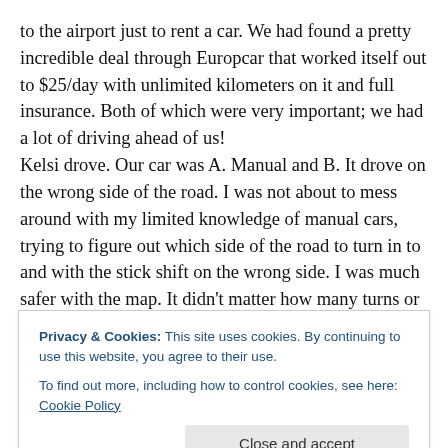to the airport just to rent a car. We had found a pretty incredible deal through Europcar that worked itself out to $25/day with unlimited kilometers on it and full insurance. Both of which were very important; we had a lot of driving ahead of us! Kelsi drove. Our car was A. Manual and B. It drove on the wrong side of the road. I was not about to mess around with my limited knowledge of manual cars, trying to figure out which side of the road to turn in to and with the stick shift on the wrong side. I was much safer with the map. It didn't matter how many turns or corners we took, I could
Privacy & Cookies: This site uses cookies. By continuing to use this website, you agree to their use. To find out more, including how to control cookies, see here: Cookie Policy
Close and accept
four way stops. Yup, apparently New Zealand and